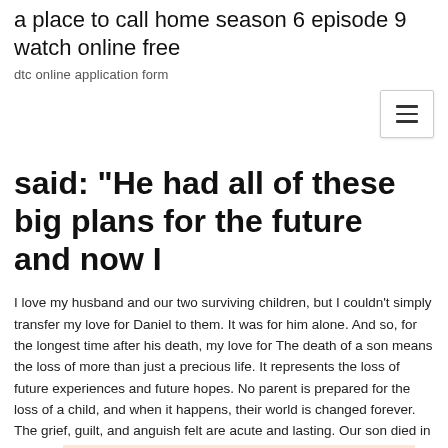a place to call home season 6 episode 9 watch online free
dtc online application form
said: "He had all of these big plans for the future and now I
I love my husband and our two surviving children, but I couldn't simply transfer my love for Daniel to them. It was for him alone. And so, for the longest time after his death, my love for The death of a son means the loss of more than just a precious life. It represents the loss of future experiences and future hopes. No parent is prepared for the loss of a child, and when it happens, their world is changed forever. The grief, guilt, and anguish felt are acute and lasting. Our son died in 1975 at age 2 years and 3 months. He was admitted to the hospital with